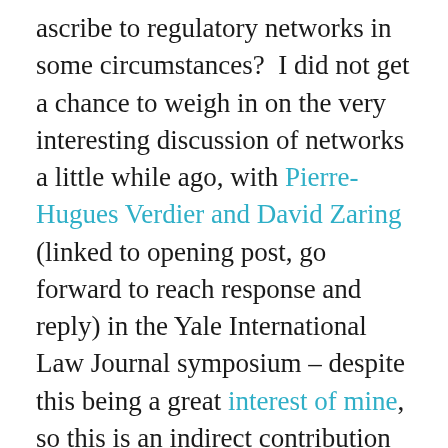ascribe to regulatory networks in some circumstances?  I did not get a chance to weigh in on the very interesting discussion of networks a little while ago, with Pierre-Hugues Verdier and David Zaring (linked to opening post, go forward to reach response and reply) in the Yale International Law Journal symposium – despite this being a great interest of mine, so this is an indirect contribution to that.  So what does this suggest?  Well, unfortunately, we won't know unless (and God willing it will not be so) it is put to the test.

When I say test, however, I don't mean a true pandemic.  In that